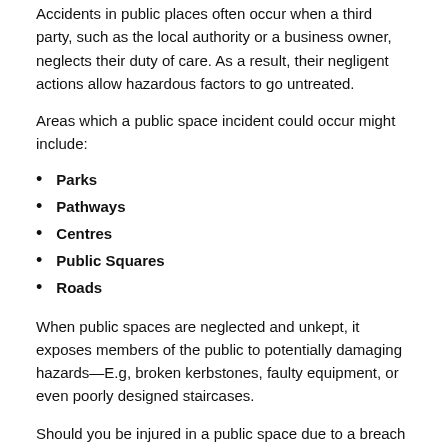Accidents in public places often occur when a third party, such as the local authority or a business owner, neglects their duty of care. As a result, their negligent actions allow hazardous factors to go untreated.
Areas which a public space incident could occur might include:
Parks
Pathways
Centres
Public Squares
Roads
When public spaces are neglected and unkept, it exposes members of the public to potentially damaging hazards—E.g, broken kerbstones, faulty equipment, or even poorly designed staircases.
Should you be injured in a public space due to a breach in the duty of care, a compensation claim could be a suitable course of action? While nobody ever expects to be placed in a situation such as this, a personal injury lawyer could help you seek justice for the unnecessary damage you've endured.
For more information, please speak to one of our advisers, as they can